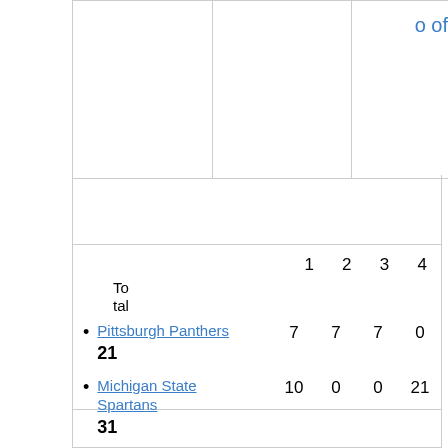o of
|  | 1 | 2 | 3 | 4 | Total |
| --- | --- | --- | --- | --- | --- |
| Pittsburgh Panthers | 7 | 7 | 7 | 0 | 21 |
| Michigan State Spartans | 10 | 0 | 0 | 21 | 31 |